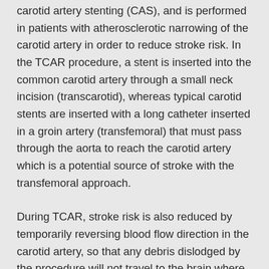carotid artery stenting (CAS), and is performed in patients with atherosclerotic narrowing of the carotid artery in order to reduce stroke risk. In the TCAR procedure, a stent is inserted into the common carotid artery through a small neck incision (transcarotid), whereas typical carotid stents are inserted with a long catheter inserted in a groin artery (transfemoral) that must pass through the aorta to reach the carotid artery which is a potential source of stroke with the transfemoral approach.
During TCAR, stroke risk is also reduced by temporarily reversing blood flow direction in the carotid artery, so that any debris dislodged by the procedure will not travel to the brain where it could cause stroke. Initial publications suggest that TCAR may have a lower stroke rate than standard transfemoral CAS, potentially due to avoidance of a catheter manipulation in the aorta combined with carotid artery flow reversal.
Read More: https://vascular.org/news-advocacy/svs-pso-